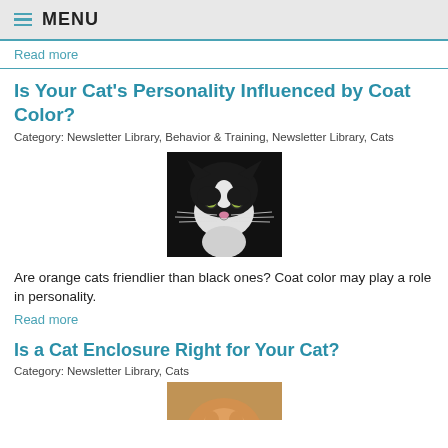MENU
Read more
Is Your Cat's Personality Influenced by Coat Color?
Category: Newsletter Library, Behavior & Training, Newsletter Library, Cats
[Figure (photo): Close-up photo of a black and white cat with yellow-green eyes looking directly at the camera]
Are orange cats friendlier than black ones? Coat color may play a role in personality.
Read more
Is a Cat Enclosure Right for Your Cat?
Category: Newsletter Library, Cats
[Figure (photo): Partial photo of an orange/tabby cat, partially visible at bottom of page]